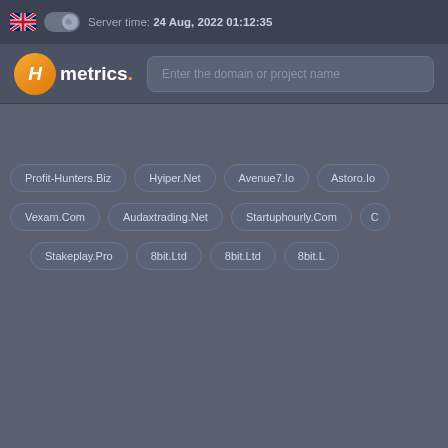Server time: 24 Aug, 2022 01:12:35
[Figure (logo): Hmetrics logo with orange circle containing H and white text]
Enter the domain or project name
Profit-Hunters.Biz
Hyiper.Net
Avenue7.Io
Astoro.Io
Vexam.Com
Audaxtrading.Net
Startuphourly.Com
C...
Stakeplay.Pro
8bit.Ltd
8bit.Ltd
8bit.L...